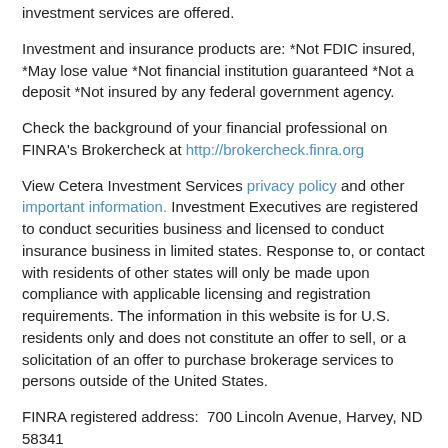investment services are offered.
Investment and insurance products are: *Not FDIC insured, *May lose value *Not financial institution guaranteed *Not a deposit *Not insured by any federal government agency.
Check the background of your financial professional on FINRA's Brokercheck at http://brokercheck.finra.org
View Cetera Investment Services privacy policy and other important information. Investment Executives are registered to conduct securities business and licensed to conduct insurance business in limited states. Response to, or contact with residents of other states will only be made upon compliance with applicable licensing and registration requirements. The information in this website is for U.S. residents only and does not constitute an offer to sell, or a solicitation of an offer to purchase brokerage services to persons outside of the United States.
FINRA registered address:  700 Lincoln Avenue, Harvey, ND 58341
Consult your legal or tax counsel for advice and information concerning your paticular circumstances. Neither Cereta Investment Services, nor any of its representatives may give